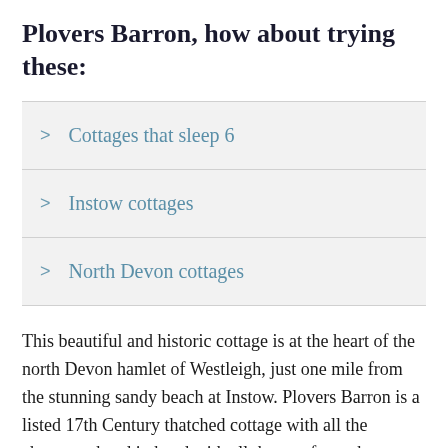Plovers Barron, how about trying these:
Cottages that sleep 6
Instow cottages
North Devon cottages
This beautiful and historic cottage is at the heart of the north Devon hamlet of Westleigh, just one mile from the stunning sandy beach at Instow. Plovers Barron is a listed 17th Century thatched cottage with all the character, hand in hand with all the comforts, that you would expect in a perfect holiday home. The cottage has been recently refurbished to a very high standard and offers excellent